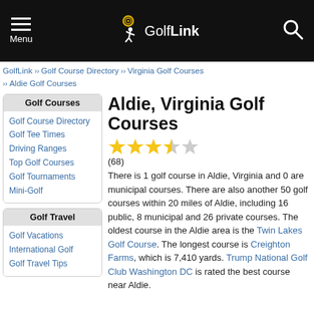GolfLink — Menu / Logo / Search
GolfLink >> Golf Course Directory >> Virginia Golf Courses >> Aldie Golf Courses
Golf Courses
Golf Course Directory
Golf Tee Times
Driving Ranges
Top Golf Courses
Golf Tournaments
Mini-Golf
Golf Travel
Golf Vacations
International Golf
Golf Travel Tips
Aldie, Virginia Golf Courses
(68)
There is 1 golf course in Aldie, Virginia and 0 are municipal courses. There are also another 50 golf courses within 20 miles of Aldie, including 16 public, 8 municipal and 26 private courses. The oldest course in the Aldie area is the Twin Lakes Golf Course. The longest course is Creighton Farms, which is 7,410 yards. Trump National Golf Club Washington DC is rated the best course near Aldie.